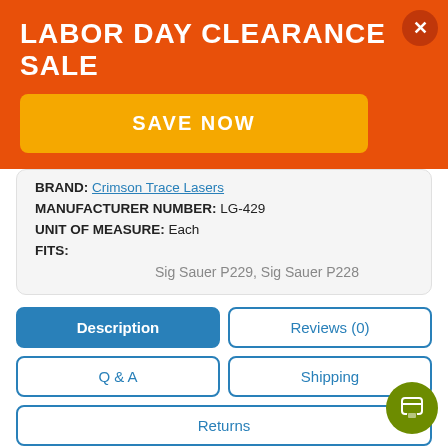LABOR DAY CLEARANCE SALE
SAVE NOW
| BRAND: | Crimson Trace Lasers |
| MANUFACTURER NUMBER: | LG-429 |
| UNIT OF MEASURE: | Each |
| FITS: | Sig Sauer P229, Sig Sauer P228 |
Description
Reviews (0)
Q & A
Shipping
Returns
Immediate targeting with a bright red or green laser when you hold your gun in a natural firing grip. This